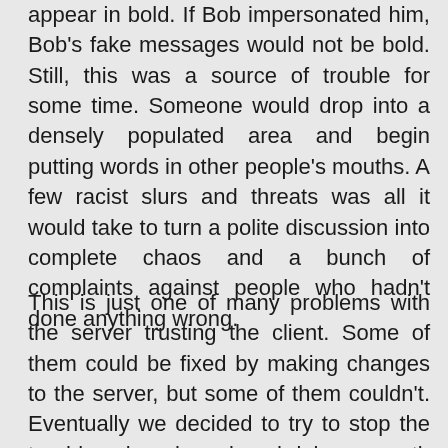appear in bold. If Bob impersonated him, Bob's fake messages would not be bold. Still, this was a source of trouble for some time. Someone would drop into a densely populated area and begin putting words in other people's mouths. A few racist slurs and threats was all it would take to turn a polite discussion into complete chaos and a bunch of complaints against people who hadn't done anything wrong.
This is just one of many problems with the server trusting the client. Some of them could be fixed by making changes to the server, but some of them couldn't. Eventually we decided to try to stop the troublemakers by using shrink-wrap anti-tamper software. I forget the name of the product we used [2] so let's say it was called WidgetProtect